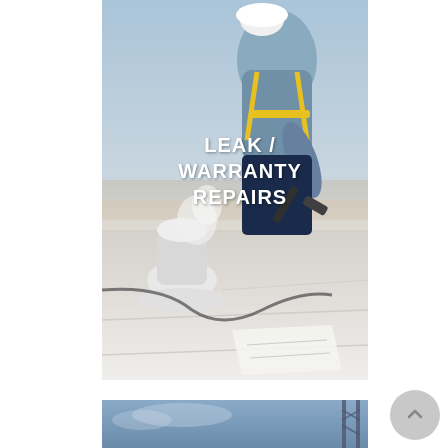[Figure (photo): A worker in a white hard hat and blue shirt with yellow safety harness working on a white flat roof, using a heat welding tool near a pipe vent. Sky is visible in the background.]
LEAK / WARRANTY REPAIRS
[Figure (photo): Partial view of a blue-toned construction or roofing scene with scaffolding or tower structure visible at right edge.]